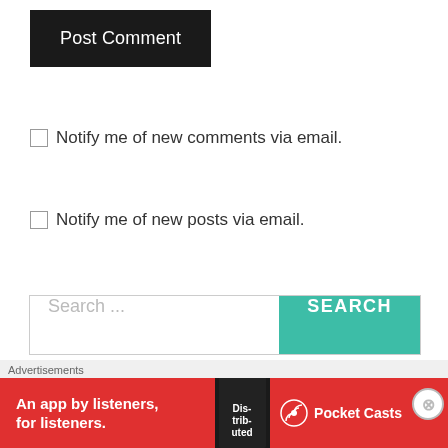[Figure (screenshot): Post Comment button — dark/black rounded rectangle with white text]
Notify me of new comments via email.
Notify me of new posts via email.
[Figure (screenshot): Search bar with placeholder 'Search ...' and a teal SEARCH button]
FOLLOW BLOG VIA EMAIL
Enter your email address to follow this blog and...
[Figure (screenshot): Pocket Casts advertisement banner: 'An app by listeners, for listeners.' on red background with phone image and Pocket Casts logo]